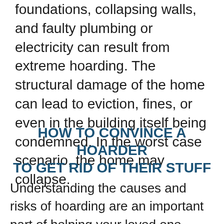foundations, collapsing walls, and faulty plumbing or electricity can result from extreme hoarding. The structural damage of the home can lead to eviction, fines, or even in the building itself being condemned. In the worst case scenario, the home may collapse.
HOW TO CONVINCE A HOARDER TO GET RID OF THEIR STUFF
Understanding the causes and risks of hoarding are an important part of helping your loved one appreciate the gravity of